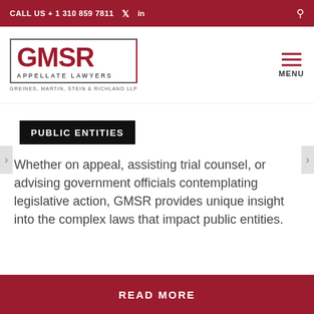CALL US + 1 310 859 7811
[Figure (logo): GMSR Appellate Lawyers logo — large red letters GMSR with grey and red border, subtitle APPELLATE LAWYERS, and below: GREINES, MARTIN, STEIN & RICHLAND LLP]
PUBLIC ENTITIES
Whether on appeal, assisting trial counsel, or advising government officials contemplating legislative action, GMSR provides unique insight into the complex laws that impact public entities.
READ MORE